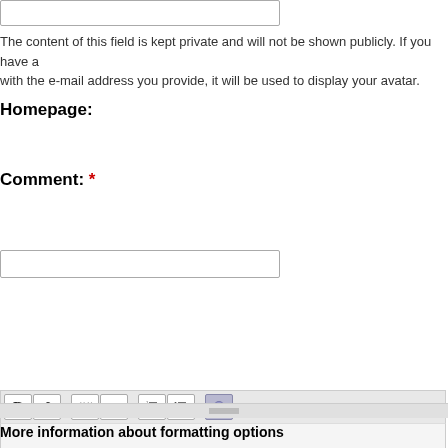[Figure (screenshot): Email input text field box, empty, with light gray border]
The content of this field is kept private and will not be shown publicly. If you have a with the e-mail address you provide, it will be used to display your avatar.
Homepage:
[Figure (screenshot): Homepage input text field box, empty, with light gray border]
Comment: *
[Figure (screenshot): Comment text area with formatting toolbar (Bold, Italic, Blockquote, Code, Ordered list, Unordered list, Link buttons) and large empty text area below]
More information about formatting options